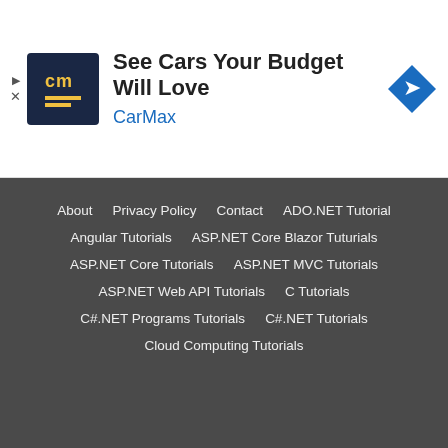[Figure (other): CarMax advertisement banner with logo showing 'cm' text and yellow lines, headline 'See Cars Your Budget Will Love', blue 'CarMax' text, and blue diamond arrow icon]
ASP.NET MVC – Advanced
ASP.NET MVC Life Cycle
Popular ASP.NET MVC Books
Most Recommended ASP.NET MVC Books
About   Privacy Policy   Contact   ADO.NET Tutorial   Angular Tutorials   ASP.NET Core Blazor Tuturials   ASP.NET Core Tutorials   ASP.NET MVC Tutorials   ASP.NET Web API Tutorials   C Tutorials   C#.NET Programs Tutorials   C#.NET Tutorials   Cloud Computing Tutorials